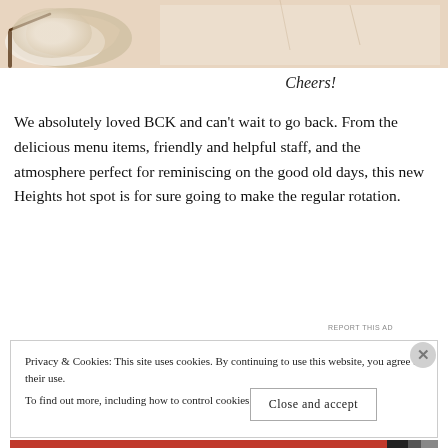[Figure (photo): Partial photo of a dish or bowl with chopsticks on a table, cropped at top]
Cheers!
We absolutely loved BCK and can't wait to go back. From the delicious menu items, friendly and helpful staff, and the atmosphere perfect for reminiscing on the good old days, this new Heights hot spot is for sure going to make the regular rotation.
[Figure (screenshot): Advertisement banner with text 'BROWSING' and '4 a month']
Privacy & Cookies: This site uses cookies. By continuing to use this website, you agree to their use.
To find out more, including how to control cookies, see here: Cookie Policy
Close and accept